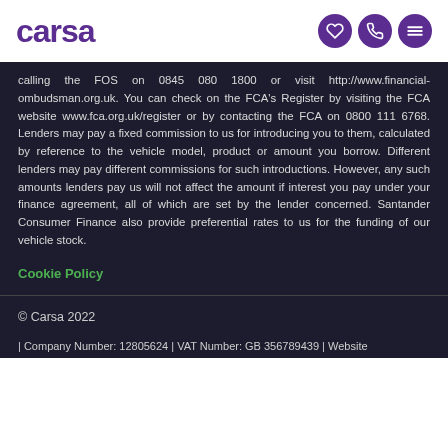carsa
calling the FOS on 0845 080 1800 or visit http://www.financial-ombudsman.org.uk. You can check on the FCA's Register by visiting the FCA website www.fca.org.uk/register or by contacting the FCA on 0800 111 6768. Lenders may pay a fixed commission to us for introducing you to them, calculated by reference to the vehicle model, product or amount you borrow. Different lenders may pay different commissions for such introductions. However, any such amounts lenders pay us will not affect the amount if interest you pay under your finance agreement, all of which are set by the lender concerned. Santander Consumer Finance also provide preferential rates to us for the funding of our vehicle stock.
Cookie Policy
© Carsa 2022
| Company Number: 12805624 | VAT Number: GB 356789439 | Website